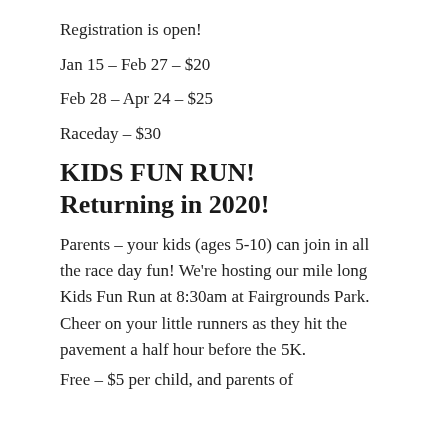Registration is open!
Jan 15 – Feb 27 – $20
Feb 28 – Apr 24 – $25
Raceday – $30
KIDS FUN RUN! Returning in 2020!
Parents – your kids (ages 5-10) can join in all the race day fun! We're hosting our mile long Kids Fun Run at 8:30am at Fairgrounds Park. Cheer on your little runners as they hit the pavement a half hour before the 5K.
Free – $5 per child, and parents of